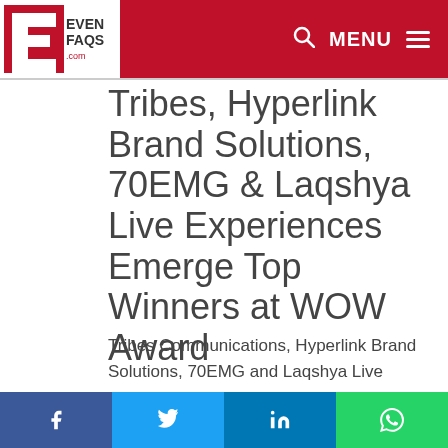EventFAQs.com — MENU
Tribes, Hyperlink Brand Solutions, 70EMG & Laqshya Live Experiences Emerge Top Winners at WOW Award
Tribes Communications, Hyperlink Brand Solutions, 70EMG and Laqshya Live Experiences emerged as the top winners that bagged maximum awards across categories.
Facebook, Twitter, LinkedIn, WhatsApp share buttons